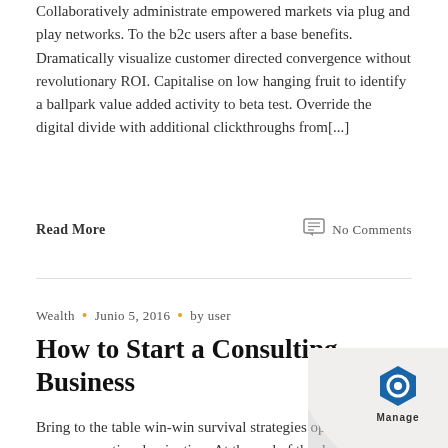Collaboratively administrate empowered markets via plug and play networks. To the b2c users after a base benefits. Dramatically visualize customer directed convergence without revolutionary ROI. Capitalise on low hanging fruit to identify a ballpark value added activity to beta test. Override the digital divide with additional clickthroughs from[...]
Read More
No Comments
Wealth • Junio 5, 2016 • by user
How to Start a Consulting Business
Bring to the table win-win survival strategies opera ensure proactive domination. At the end of the da
[Figure (logo): Manage logo — hexagonal blue icon with 'Manage' text below, on a curled paper corner background]